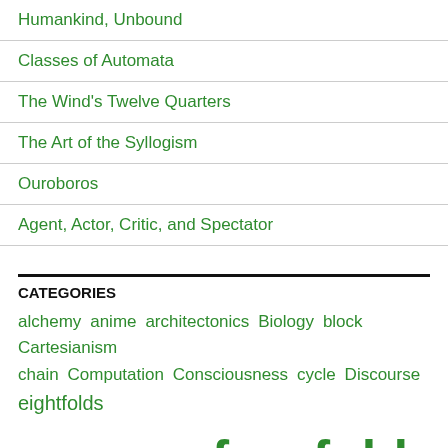Humankind, Unbound
Classes of Automata
The Wind's Twelve Quarters
The Art of the Syllogism
Ouroboros
Agent, Actor, Critic, and Spectator
CATEGORIES
alchemy anime architectonics Biology block Cartesianism chain Computation Consciousness cycle Discourse eightfolds epistemology Esoteric evolution fourfolds grid hermeneutics linear logic logic Mathematics Metaphysics Mind-Body Dualism mythology Narrative object